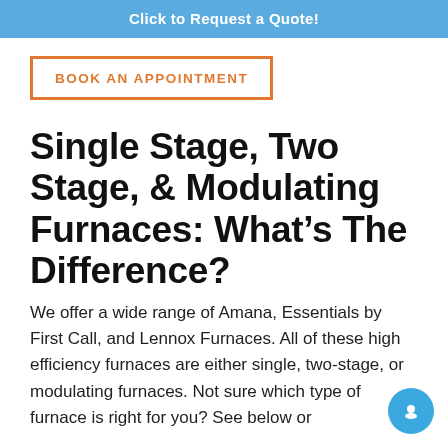Click to Request a Quote!
[Figure (other): Orange bordered button with text BOOK AN APPOINTMENT]
Single Stage, Two Stage, & Modulating Furnaces: What's The Difference?
We offer a wide range of Amana, Essentials by First Call, and Lennox Furnaces. All of these high efficiency furnaces are either single, two-stage, or modulating furnaces. Not sure which type of furnace is right for you? See below or